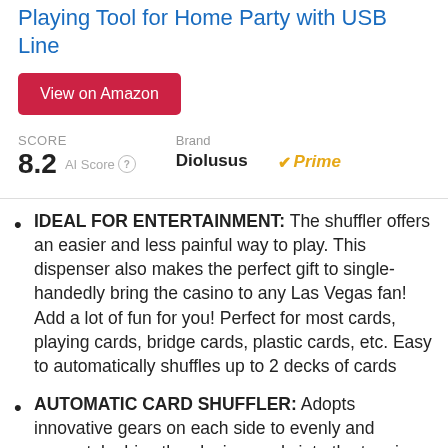Operated Automatic Cards Mixer, Cards Playing Tool for Home Party with USB Line
View on Amazon
SCORE 8.2 AI Score
Brand Diolusus
Prime
IDEAL FOR ENTERTAINMENT: The shuffler offers an easier and less painful way to play. This dispenser also makes the perfect gift to single-handedly bring the casino to any Las Vegas fan! Add a lot of fun for you! Perfect for most cards, playing cards, bridge cards, plastic cards, etc. Easy to automatically shuffles up to 2 decks of cards
AUTOMATIC CARD SHUFFLER: Adopts innovative gears on each side to evenly and accurately drive the playing cards into the tray in a swift